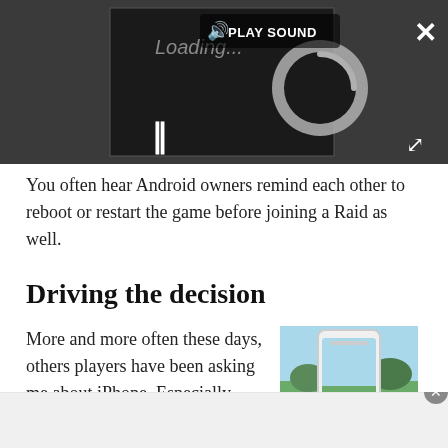[Figure (screenshot): Dark media player bar with a loading video circle, pause button, a 'PLAY SOUND' button with speaker icon, a close X button in top right, and an expand arrows icon in bottom right.]
You often hear Android owners remind each other to reboot or restart the game before joining a Raid as well.
Driving the decision
More and more often these days, others players have been asking me about iPhone. Especially why I don't seem to
[Figure (photo): A hand holding a white smartphone displaying a mobile game with green outdoor scenery.]
[Figure (screenshot): Bottom advertisement bar with a close button.]